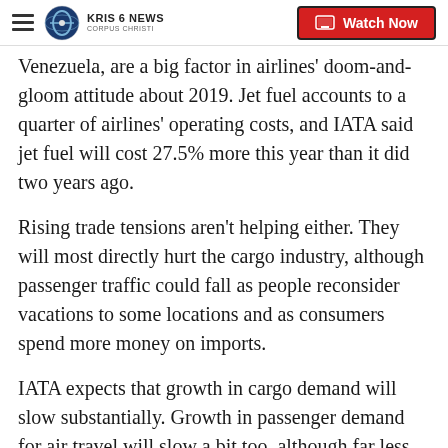KRIS 6 NEWS CORPUS CHRISTI | Watch Now
Venezuela, are a big factor in airlines' doom-and-gloom attitude about 2019. Jet fuel accounts to a quarter of airlines' operating costs, and IATA said jet fuel will cost 27.5% more this year than it did two years ago.
Rising trade tensions aren't helping either. They will most directly hurt the cargo industry, although passenger traffic could fall as people reconsider vacations to some locations and as consumers spend more money on imports.
IATA expects that growth in cargo demand will slow substantially. Growth in passenger demand for air travel will slow a bit too, although far less dramatically